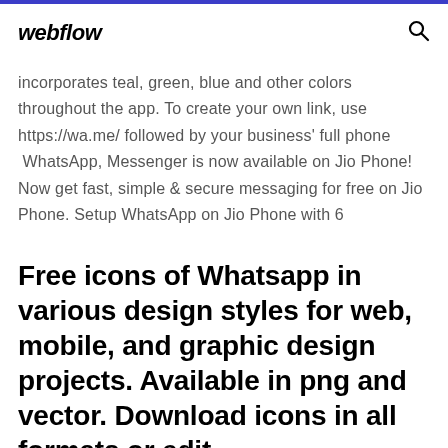webflow
incorporates teal, green, blue and other colors throughout the app. To create your own link, use https://wa.me/ followed by your business' full phone  WhatsApp, Messenger is now available on Jio Phone! Now get fast, simple & secure messaging for free on Jio Phone. Setup WhatsApp on Jio Phone with 6
Free icons of Whatsapp in various design styles for web, mobile, and graphic design projects. Available in png and vector. Download icons in all formats or edit